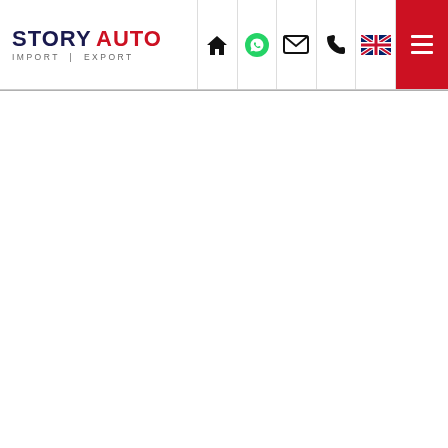STORY AUTO IMPORT | EXPORT — navigation header with home, WhatsApp, email, phone, UK flag, and menu icons
[Figure (screenshot): Mostly blank white page body area below the navigation header, separated by a horizontal rule]